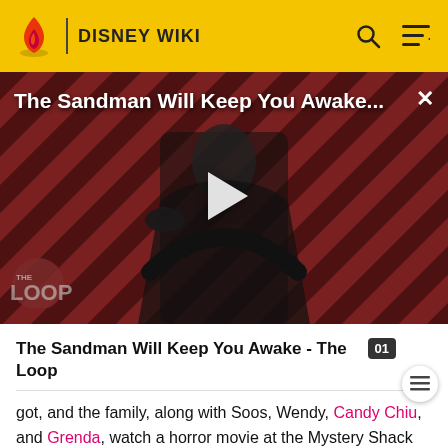DISNEY WIKI
[Figure (screenshot): Video thumbnail showing a dark-cloaked figure against a red and black diagonal stripe background, with THE LOOP logo watermark. Title overlay reads 'The Sandman Will Keep You Awake...' with a play button in the center.]
The Sandman Will Keep You Awake - The Loop
got, and the family, along with Soos, Wendy, Candy Chiu, and Grenda, watch a horror movie at the Mystery Shack for the remainder of the night.